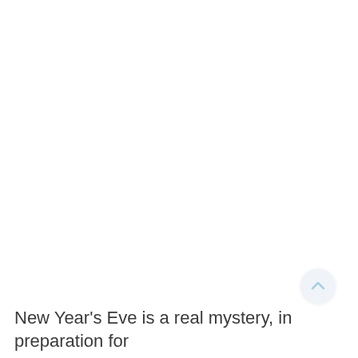[Figure (other): Scroll-to-top button: a circular light-grey button with a light-blue upward chevron arrow icon, positioned in the lower-right area of the page.]
New Year's Eve is a real mystery, in preparation for